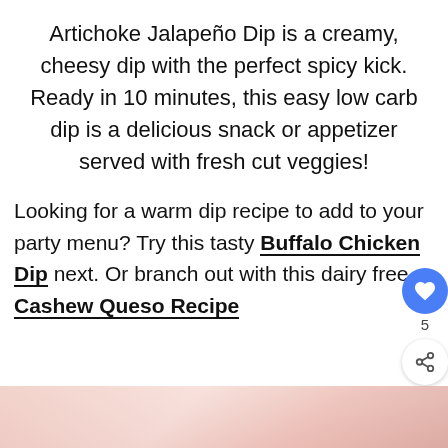Artichoke Jalapeño Dip is a creamy, cheesy dip with the perfect spicy kick. Ready in 10 minutes, this easy low carb dip is a delicious snack or appetizer served with fresh cut veggies!
Looking for a warm dip recipe to add to your party menu? Try this tasty Buffalo Chicken Dip next. Or branch out with this dairy free Cashew Queso Recipe
[Figure (photo): Partial view of a food photo at the bottom of the page, showing a pinkish-red dish (likely the dip)]